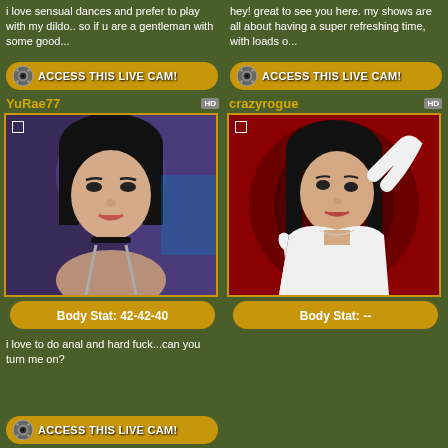i love sensual dances and prefer to play with my dildo.. so if u are a gentleman with some good...
hey! great to see you here. my shows are all about having a super refreshing time, with loads o...
[Figure (other): ACCESS THIS LIVE CAM button with camera gear icon]
[Figure (other): ACCESS THIS LIVE CAM button with camera gear icon]
YuRae77
crazyrogue
[Figure (photo): Webcam photo of YuRae77 - young Asian woman with dark hair]
[Figure (photo): Webcam photo of crazyrogue - young Asian woman in white shirt on red background]
Body Stat: 42-42-40
Body Stat: --
i love to do anal and hard fuck...can you turn me on?
[Figure (other): ACCESS THIS LIVE CAM button with camera gear icon]
[Figure (other): ACCESS THIS LIVE CAM button with camera gear icon]